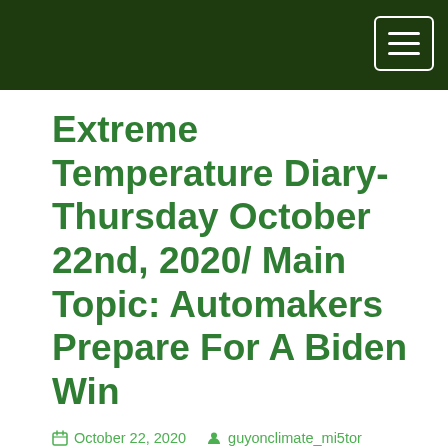Extreme Temperature Diary- Thursday October 22nd, 2020/ Main Topic: Automakers Prepare For A Biden Win
October 22, 2020   guyonclimate_mi5tor
The main purpose of this ongoing blog will be to track United States extreme or record temperatures related to climate change. Any reports I see of ETs will be listed below the main topic of the day. I'll refer to extreme or